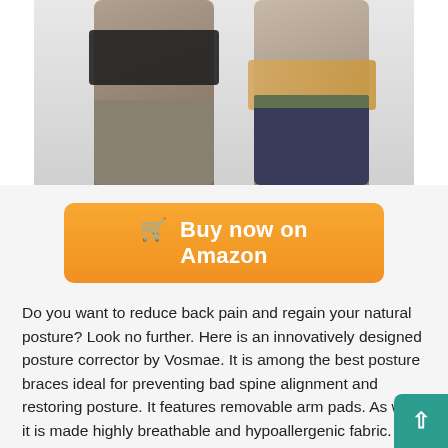[Figure (photo): Two people wearing back support braces/posture correctors. The person on the left wears a black lumbar support belt over olive/khaki shorts. The person on the right wears a beige/tan posture corrector brace with olive shorts and dark pants.]
🛒 Buy now on Amazon
Do you want to reduce back pain and regain your natural posture? Look no further. Here is an innovatively designed posture corrector by Vosmae. It is among the best posture braces ideal for preventing bad spine alignment and restoring posture. It features removable arm pads. As well, it is made highly breathable and hypoallergenic fabric.